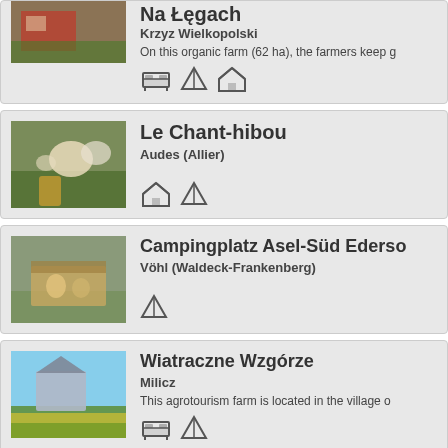[Figure (photo): Partial card top: Na Łęgach farm, red brick building]
Na Łęgach
Krzyz Wielkopolski
On this organic farm (62 ha), the farmers keep g
[Figure (photo): Le Chant-hibou: child with sheep]
Le Chant-hibou
Audes (Allier)
[Figure (photo): Campingplatz Asel-Süd Edersee: children on wagon]
Campingplatz Asel-Süd Ederso
Vöhl (Waldeck-Frankenberg)
[Figure (photo): Wiatraczne Wzgórze: house with yellow flowers]
Wiatraczne Wzgórze
Milicz
This agrotourism farm is located in the village o